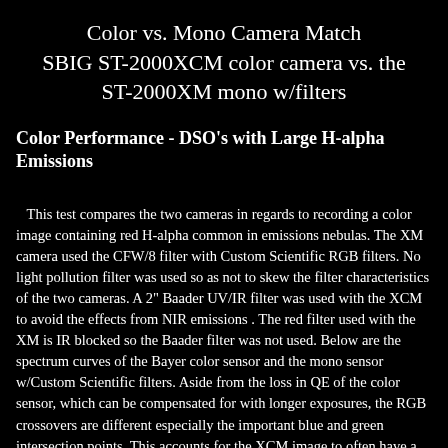Color vs. Mono Camera Match SBIG ST-2000XCM color camera vs. the ST-2000XM mono w/filters
Color Performance - DSO's with Large H-alpha Emissions
This test compares the two cameras in regards to recording a color image containing red H-alpha common in emissions nebulas. The XM camera used the CFW/8 filter with Custom Scientific RGB filters. No light pollution filter was used so as not to skew the filter characteristics of the two cameras. A 2" Baader UV/IR filter was used with the XCM to avoid the effects from NIR emissions . The red filter used with the XM is IR blocked so the Baader filter was not used. Below are the spectrum curves of the Bayer color sensor and the mono sensor w/Custom Scientific filters. Aside from the loss in QE of the color sensor, which can be compensated for with longer exposures, the RGB crossovers are different especially the important blue and green intersection points. This accounts for the XCM image to often have a more blue hue to it